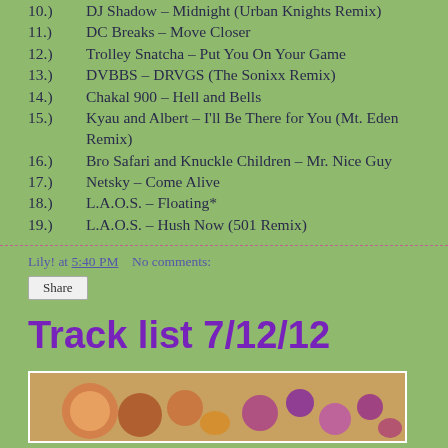10.)  DJ Shadow – Midnight (Urban Knights Remix)
11.)  DC Breaks – Move Closer
12.)  Trolley Snatcha – Put You On Your Game
13.)  DVBBS – DRVGS (The Sonixx Remix)
14.)  Chakal 900 – Hell and Bells
15.)  Kyau and Albert – I'll Be There for You (Mt. Eden Remix)
16.)  Bro Safari and Knuckle Children – Mr. Nice Guy
17.)  Netsky – Come Alive
18.)  L.A.O.S. – Floating*
19.)  L.A.O.S. – Hush Now (501 Remix)
Lily! at 5:40 PM    No comments:
Share
Track list 7/12/12
[Figure (photo): A photo showing decorative items, possibly holiday ornaments or food items, partially visible at the bottom of the page.]